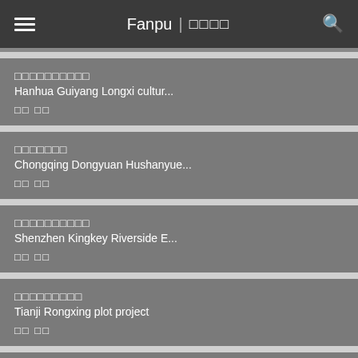Fanpu | □□□□
□□□□□□□□□□
Hanhua Guiyang Longxi cultur...
□□ □□
□□□□□□□
Chongqing Dongyuan Hushanyue...
□□ □□
□□□□□□□□□□
Shenzhen Kingkey Riverside E...
□□ □□
□□□□□□□□□
Tianji Rongxing plot project
□□ □□
□□□□□□□□□□□
Urban renewal of Shenzhen Ka...